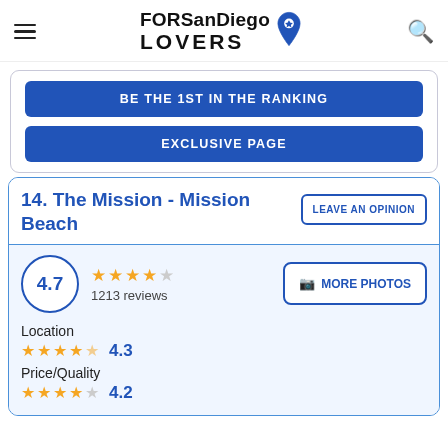FORSanDiego LOVERS
BE THE 1ST IN THE RANKING
EXCLUSIVE PAGE
14. The Mission - Mission Beach
LEAVE AN OPINION
4.7 — 1213 reviews
MORE PHOTOS
Location
4.3
Price/Quality
4.2